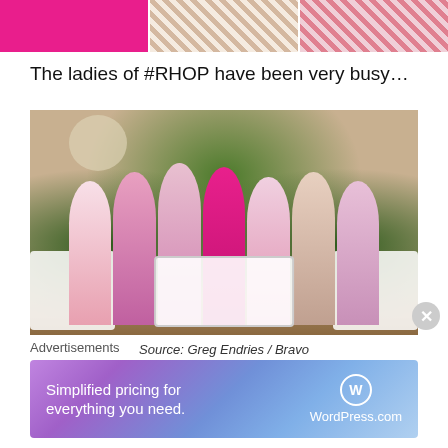[Figure (photo): Top strip showing three cropped fashion/dress photos: a hot pink dress, a pearl/beaded outfit, and a floral pattern]
The ladies of #RHOP have been very busy…
[Figure (photo): Group photo of the ladies of RHOP (Real Housewives of Potomac) posed in formal gowns in pink and rose tones at an outdoor event set with white sofas and a decorative table]
Source: Greg Endries / Bravo
Advertisements
[Figure (other): WordPress.com advertisement banner: 'Simplified pricing for everything you need.' with WordPress.com logo]